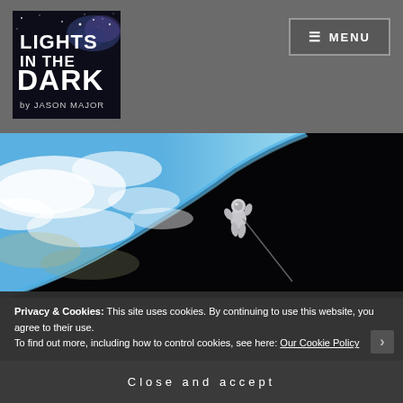[Figure (logo): Lights in the Dark by Jason Major logo — space-themed logo with text on dark background]
≡ MENU
[Figure (photo): Astronaut or space object floating against the Earth and outer space backdrop — left half shows Earth's atmosphere and clouds, right half is black space with a small space-suited figure]
Privacy & Cookies: This site uses cookies. By continuing to use this website, you agree to their use.
To find out more, including how to control cookies, see here: Our Cookie Policy
Close and accept